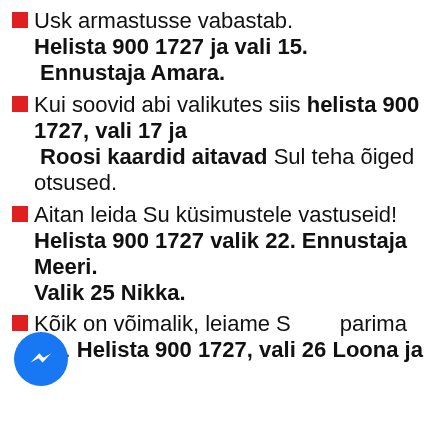Usk armastusse vabastab. Helista 900 1727 ja vali 15. Ennustaja Amara.
Kui soovid abi valikutes siis helista 900 1727, vali 17 ja Roosi kaardid aitavad Sul teha õiged otsused.
Aitan leida Su küsimustele vastuseid! Helista 900 1727 valik 22. Ennustaja Meeri. Valik 25 Nikka.
Kõik on võimalik, leiame Su parima tee. Helista 900 1727, vali 26 Loona ja 27